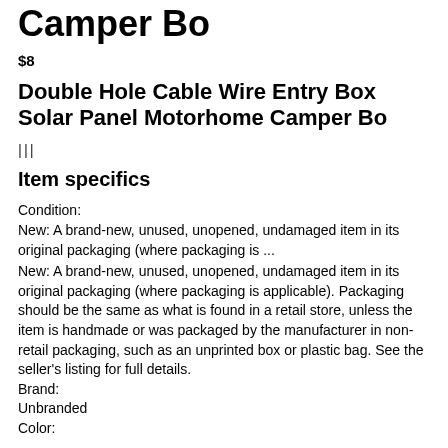Camper Bo
$8
Double Hole Cable Wire Entry Box Solar Panel Motorhome Camper Bo
|||
Item specifics
Condition:
New: A brand-new, unused, unopened, undamaged item in its original packaging (where packaging is ...
New: A brand-new, unused, unopened, undamaged item in its original packaging (where packaging is applicable). Packaging should be the same as what is found in a retail store, unless the item is handmade or was packaged by the manufacturer in non-retail packaging, such as an unprinted box or plastic bag. See the seller's listing for full details.
Brand:
Unbranded
Color: